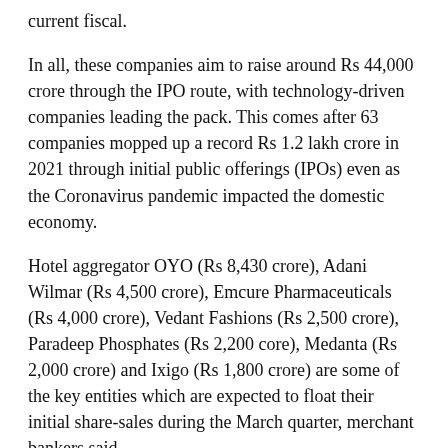current fiscal.
In all, these companies aim to raise around Rs 44,000 crore through the IPO route, with technology-driven companies leading the pack. This comes after 63 companies mopped up a record Rs 1.2 lakh crore in 2021 through initial public offerings (IPOs) even as the Coronavirus pandemic impacted the domestic economy.
Hotel aggregator OYO (Rs 8,430 crore), Adani Wilmar (Rs 4,500 crore), Emcure Pharmaceuticals (Rs 4,000 crore), Vedant Fashions (Rs 2,500 crore), Paradeep Phosphates (Rs 2,200 core), Medanta (Rs 2,000 crore) and Ixigo (Rs 1,800 crore) are some of the key entities which are expected to float their initial share-sales during the March quarter, merchant bankers said.
Some other companies which will also come up with their IPOs during this period include, Mobiwik, Skanray Technologies, Healthium Medtech, and Sahajanand Medical Technologies among others, merchant bankers further informed.
Apart from these firms, PowerGrid InvIT (Infrastructure